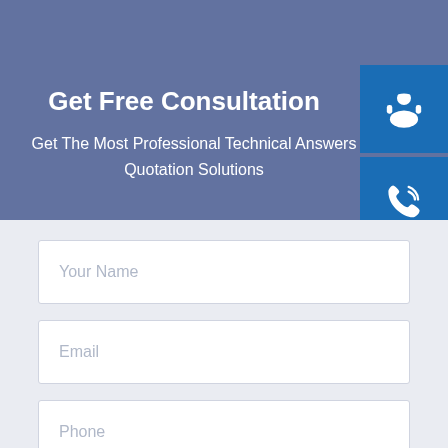Get Free Consultation
Get The Most Professional Technical Answers
Quotation Solutions
[Figure (infographic): Three blue icon boxes stacked on the right side: headset/support icon, phone icon, and Skype icon]
Your Name
Email
Phone